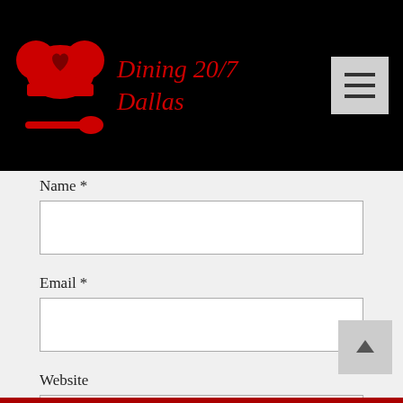[Figure (logo): Dining 20/7 Dallas logo with red chef hat and spoon icon on black background, with hamburger menu button]
Name *
Email *
Website
POST COMMENT